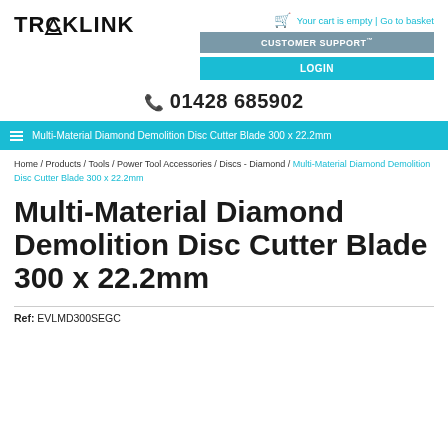TRACKLINK
Your cart is empty | Go to basket
CUSTOMER SUPPORT
LOGIN
01428 685902
Multi-Material Diamond Demolition Disc Cutter Blade 300 x 22.2mm
Home / Products / Tools / Power Tool Accessories / Discs - Diamond / Multi-Material Diamond Demolition Disc Cutter Blade 300 x 22.2mm
Multi-Material Diamond Demolition Disc Cutter Blade 300 x 22.2mm
Ref: EVLMD300SEGC